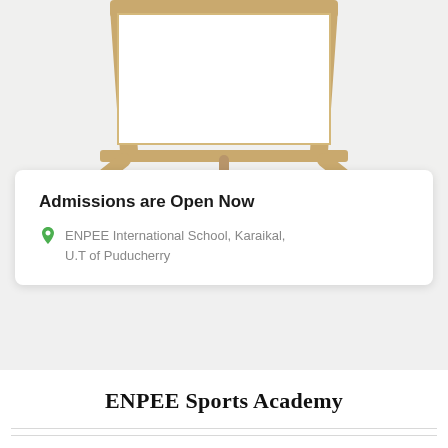[Figure (photo): Partial view of a wooden easel or chalkboard stand against a light grey/white background, cropped at the top of the page]
Admissions are Open Now
ENPEE International School, Karaikal, U.T of Puducherry
ENPEE Sports Academy